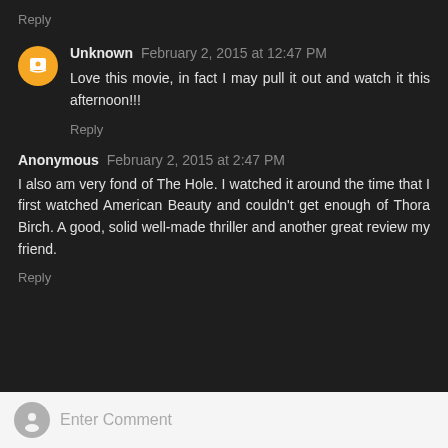Reply
Unknown February 2, 2015 at 12:47 PM
Love this movie, in fact I may pull it out and watch it this afternoon!!!
Reply
Anonymous February 2, 2015 at 2:47 PM
I also am very fond of The Hole. I watched it around the time that I first watched American Beauty and couldn't get enough of Thora Birch. A good, solid well-made thriller and another great review my friend.
Reply
Enter Comment